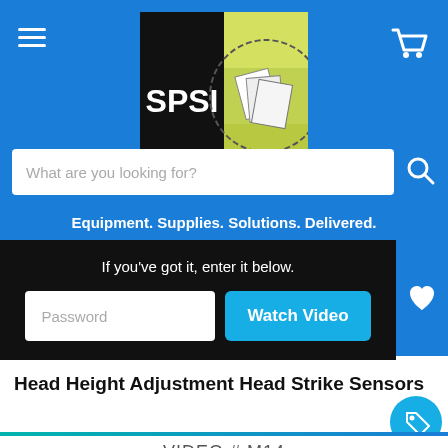[Figure (logo): SPSI logo with black square showing 'SPSI' text and colorful graphic on right]
What are you looking for?
Equipment. Supplies. Solutions. Delivered.
If you've got it, enter it below.
Password
Watch Video
Head Height Adjustment Head Strike Sensors
VIDEO # M14